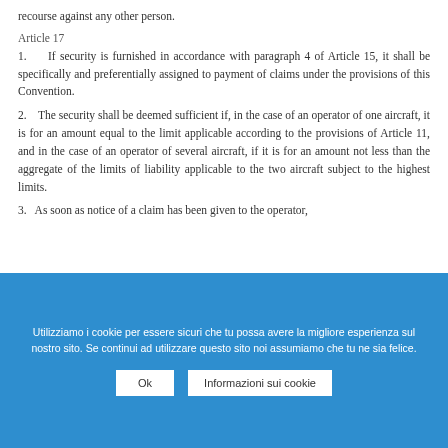recourse against any other person.
Article 17
1.    If security is furnished in accordance with paragraph 4 of Article 15, it shall be specifically and preferentially assigned to payment of claims under the provisions of this Convention.
2.    The security shall be deemed sufficient if, in the case of an operator of one aircraft, it is for an amount equal to the limit applicable according to the provisions of Article 11, and in the case of an operator of several aircraft, if it is for an amount not less than the aggregate of the limits of liability applicable to the two aircraft subject to the highest limits.
3.    As soon as notice of a claim has been given to the operator,
Utilizziamo i cookie per essere sicuri che tu possa avere la migliore esperienza sul nostro sito. Se continui ad utilizzare questo sito noi assumiamo che tu ne sia felice.
Ok   Informazioni sui cookie